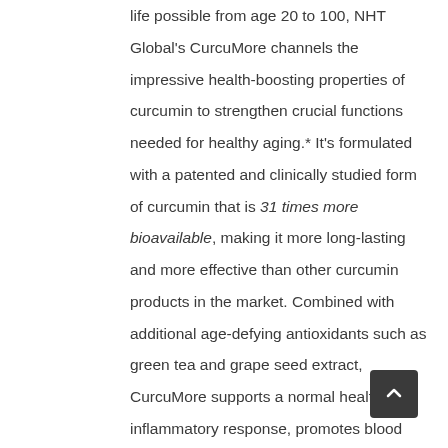life possible from age 20 to 100, NHT Global's CurcuMore channels the impressive health-boosting properties of curcumin to strengthen crucial functions needed for healthy aging.* It's formulated with a patented and clinically studied form of curcumin that is 31 times more bioavailable, making it more long-lasting and more effective than other curcumin products in the market. Combined with additional age-defying antioxidants such as green tea and grape seed extract, CurcuMore supports a normal healthy inflammatory response, promotes blood